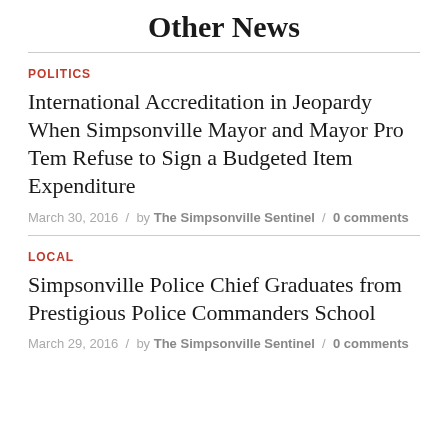Other News
POLITICS
International Accreditation in Jeopardy When Simpsonville Mayor and Mayor Pro Tem Refuse to Sign a Budgeted Item Expenditure
March 30, 2016 / by The Simpsonville Sentinel / 0 comments
LOCAL
Simpsonville Police Chief Graduates from Prestigious Police Commanders School
March 29, 2016 / by The Simpsonville Sentinel / 0 comments